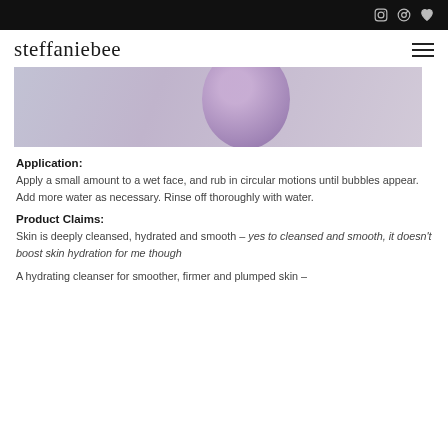[social icons: Instagram, Pinterest, Heart]
[Figure (logo): steffaniebee handwritten logo with hamburger menu icon]
[Figure (photo): Close-up photo of a person's face/chin area with purple/lavender tones, appears to be a skincare product image]
Application:
Apply a small amount to a wet face, and rub in circular motions until bubbles appear. Add more water as necessary. Rinse off thoroughly with water.
Product Claims:
Skin is deeply cleansed, hydrated and smooth – yes to cleansed and smooth, it doesn't boost skin hydration for me though
A hydrating cleanser for smoother, firmer and plumped skin –